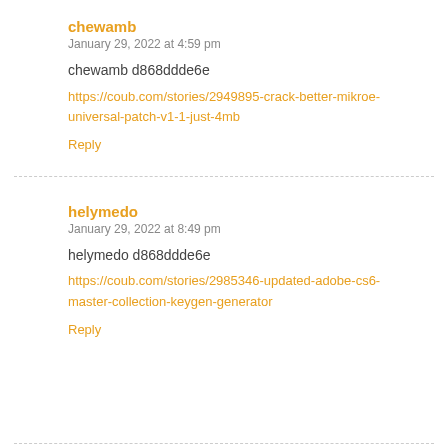chewamb
January 29, 2022 at 4:59 pm
chewamb d868ddde6e
https://coub.com/stories/2949895-crack-better-mikroe-universal-patch-v1-1-just-4mb
Reply
helymedo
January 29, 2022 at 8:49 pm
helymedo d868ddde6e
https://coub.com/stories/2985346-updated-adobe-cs6-master-collection-keygen-generator
Reply